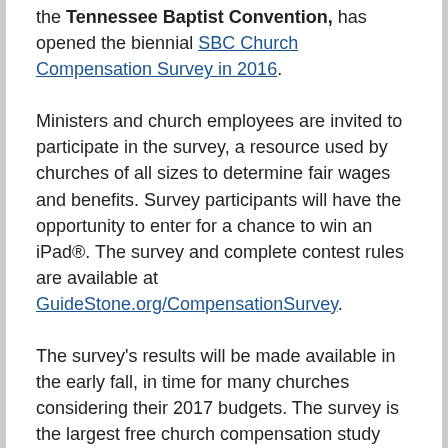the Tennessee Baptist Convention, has opened the biennial SBC Church Compensation Survey in 2016.
Ministers and church employees are invited to participate in the survey, a resource used by churches of all sizes to determine fair wages and benefits. Survey participants will have the opportunity to enter for a chance to win an iPad®. The survey and complete contest rules are available at GuideStone.org/CompensationSurvey.
The survey's results will be made available in the early fall, in time for many churches considering their 2017 budgets. The survey is the largest free church compensation study conducted in the United States. The most recent survey results, conducted in 2014, have been visited almost 55,000 times.
“GuideStone works tirelessly to be an advocate for pastors and church staff, ensuring that they are compensated fairly,” said O.S. Hawkins, president of GuideStone Financial